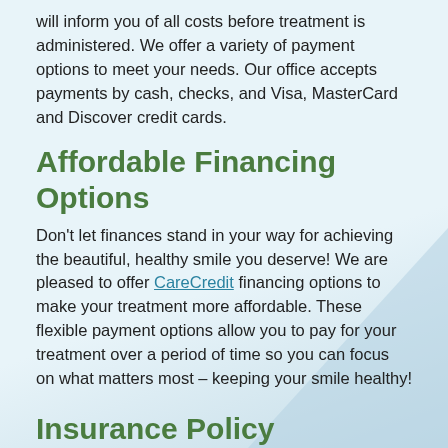will inform you of all costs before treatment is administered. We offer a variety of payment options to meet your needs. Our office accepts payments by cash, checks, and Visa, MasterCard and Discover credit cards.
Affordable Financing Options
Don't let finances stand in your way for achieving the beautiful, healthy smile you deserve! We are pleased to offer CareCredit financing options to make your treatment more affordable. These flexible payment options allow you to pay for your treatment over a period of time so you can focus on what matters most – keeping your smile healthy!
Insurance Policy
Our office is committed to helping you maximize your insurance benefits. Because insurance policies vary, we can only estimate your coverage in good faith but cannot